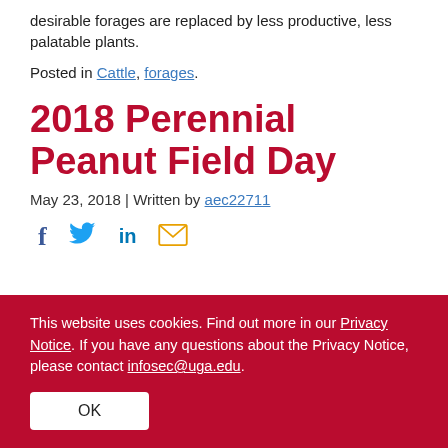desirable forages are replaced by less productive, less palatable plants.
Posted in Cattle, forages.
2018 Perennial Peanut Field Day
May 23, 2018 | Written by aec22711
[Figure (other): Social media share icons: Facebook, Twitter, LinkedIn, Email]
This website uses cookies. Find out more in our Privacy Notice. If you have any questions about the Privacy Notice, please contact infosec@uga.edu.
OK